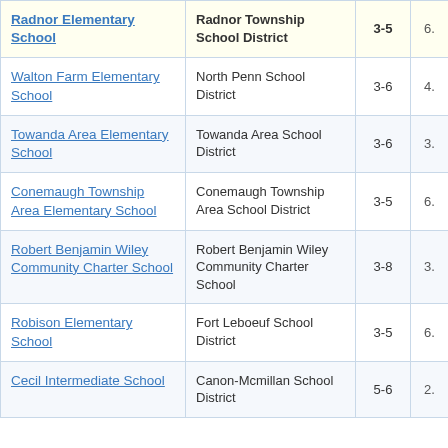| School | District | Grades | Score |
| --- | --- | --- | --- |
| Radnor Elementary School | Radnor Township School District | 3-5 | 6. |
| Walton Farm Elementary School | North Penn School District | 3-6 | 4. |
| Towanda Area Elementary School | Towanda Area School District | 3-6 | 3. |
| Conemaugh Township Area Elementary School | Conemaugh Township Area School District | 3-5 | 6. |
| Robert Benjamin Wiley Community Charter School | Robert Benjamin Wiley Community Charter School | 3-8 | 3. |
| Robison Elementary School | Fort Leboeuf School District | 3-5 | 6. |
| Cecil Intermediate School | Canon-Mcmillan School District | 5-6 | 2. |